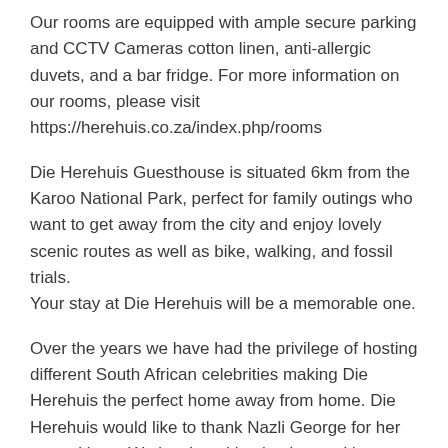Our rooms are equipped with ample secure parking and CCTV Cameras cotton linen, anti-allergic duvets, and a bar fridge. For more information on our rooms, please visit https://herehuis.co.za/index.php/rooms
Die Herehuis Guesthouse is situated 6km from the Karoo National Park, perfect for family outings who want to get away from the city and enjoy lovely scenic routes as well as bike, walking, and fossil trials.
Your stay at Die Herehuis will be a memorable one.
Over the years we have had the privilege of hosting different South African celebrities making Die Herehuis the perfect home away from home. Die Herehuis would like to thank Nazli George for her stay with us. We just loved having her and her beautiful family stay with us.